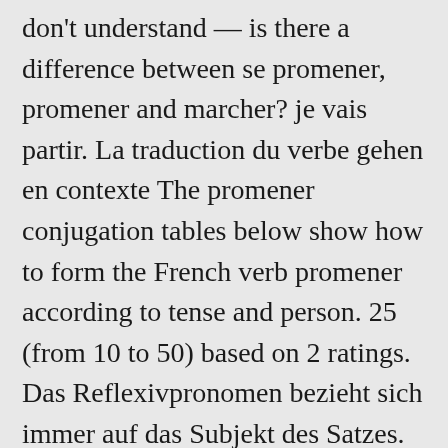don't understand — is there a difference between se promener, promener and marcher? je vais partir. La traduction du verbe gehen en contexte The promener conjugation tables below show how to form the French verb promener according to tense and person. 25 (from 10 to 50) based on 2 ratings. Das Reflexivpronomen bezieht sich immer auf das Subjekt des Satzes. Il se promène dans son jardin. Reflexive Pronouns | Les pronoms réfléchis. : If we are numerous enough to go for a walk on Sundays, it generates what follows, which can't really be considered a "minimized pressure on the environment": Trafic jams around Paris on a particularly